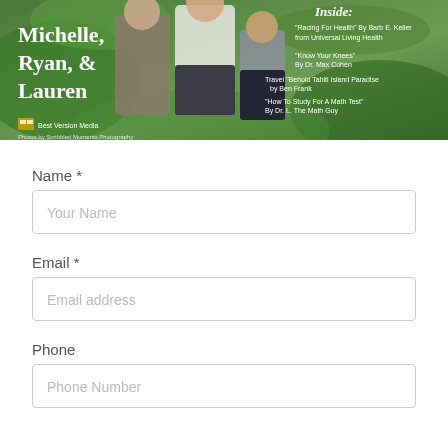[Figure (photo): Magazine cover showing people (Michelle, Ryan & Lauren) standing outdoors among green plants, with text overlay listing inside articles including 'Racing For Health' by Barb E. Keller from Universal Living Health, 'Know Your Knees' by Dr. Max Cohen, Travel 'Behold Tahiti Island Paradise' by Ben Frank, and 'How To Study For A Math Test' by Dr. L. The Math Guy. Best Version Media credited.]
Name *
Your Name
Email *
Email address
Phone
Phone Number